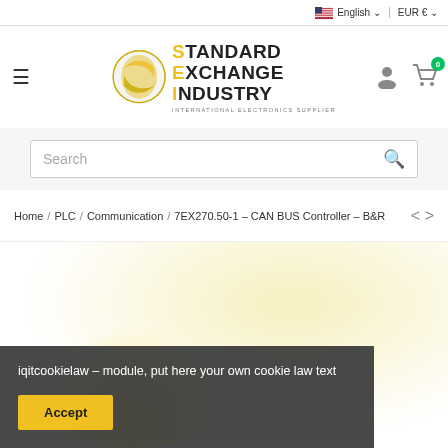English | EUR €
[Figure (logo): Standard Exchange Industry logo with globe icon and text 'STANDARD EXCHANGE INDUSTRY - INTERNATIONAL ELECTRONICS SUPPLIER']
Search
Home / PLC / Communication / 7EX270.50-1 – CAN BUS Controller – B&R
[Figure (photo): Product photo of 7EX270.50-1 CAN BUS Controller by B&R, partially visible with yellow circular background]
iqitcookielaw – module, put here your own cookie law text
Accept